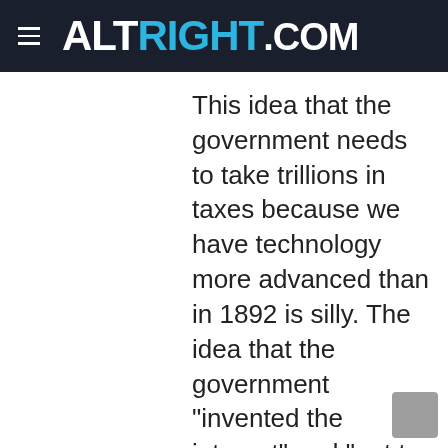ALTRIGHT.COM
This idea that the government needs to take trillions in taxes because we have technology more advanced than in 1892 is silly. The idea that the government “invented the internet” and “got to the moon” implies that humans could not invent the internet or get to the moon without taxation is unsubstantiated. You are not accounting for the opportunity costs of extracting trillions of dollars of wealth away from the